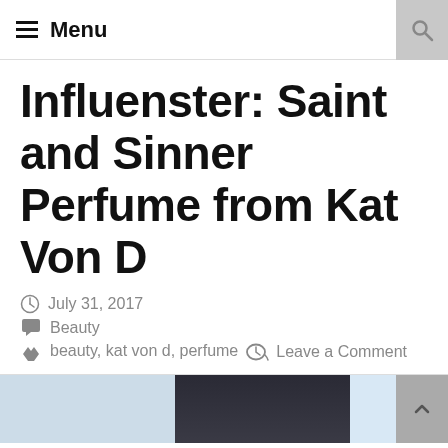Menu
Influenster: Saint and Sinner Perfume from Kat Von D
July 31, 2017
Beauty
beauty, kat von d, perfume   Leave a Comment
[Figure (photo): Bottom partial image showing what appears to be a perfume bottle or product, with light blue background on sides and dark center image]